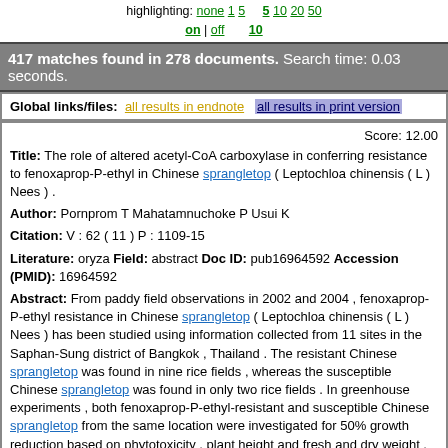highlighting: none 1 5 10 5 10 20 50
on | off
417 matches found in 278 documents. Search time: 0.03 seconds.
Global links/files: all results in endnote  all results in print version
Score: 12.00
Title: The role of altered acetyl-CoA carboxylase in conferring resistance to fenoxaprop-P-ethyl in Chinese sprangletop ( Leptochloa chinensis ( L ) Nees ) .
Author: Pornprom T Mahatamnuchoke P Usui K
Citation: V : 62 ( 11 ) P : 1109-15
Literature: oryza Field: abstract Doc ID: pub16964592 Accession (PMID): 16964592
Abstract: From paddy field observations in 2002 and 2004 , fenoxaprop-P-ethyl resistance in Chinese sprangletop ( Leptochloa chinensis ( L ) Nees ) has been studied using information collected from 11 sites in the Saphan-Sung district of Bangkok , Thailand . The resistant Chinese sprangletop was found in nine rice fields , whereas the susceptible Chinese sprangletop was found in only two rice fields . In greenhouse experiments , both fenoxaprop-P-ethyl-resistant and susceptible Chinese sprangletop from the same location were investigated for 50% growth reduction based on phytotoxicity , plant height and fresh and dry weight . The resistant Chinese sprangletop showed apparent resistance at 14-21 days after herbicide application at a rate of 21 . 1-337 . 6 g Al ha ( -1 ) . The resistance index of resistant Chinese sprangletop was 10-25 times higher than that of the susceptible Chinese sprangletop . In addition